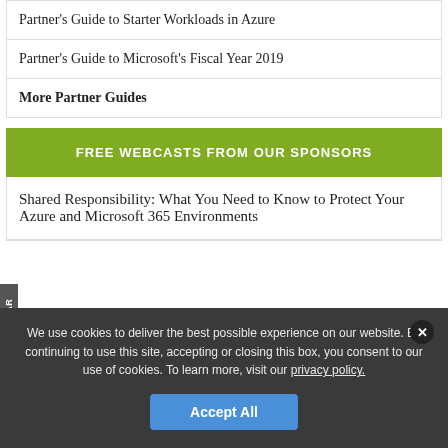Partner's Guide to Starter Workloads in Azure
Partner's Guide to Microsoft's Fiscal Year 2019
More Partner Guides
FREE WEBCASTS FROM OUR SPONSORS
Shared Responsibility: What You Need to Know to Protect Your Azure and Microsoft 365 Environments
We use cookies to deliver the best possible experience on our website. By continuing to use this site, accepting or closing this box, you consent to our use of cookies. To learn more, visit our privacy policy.